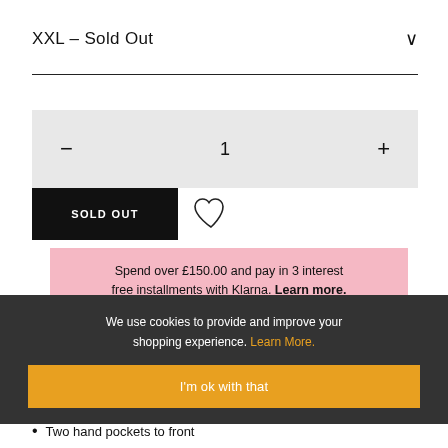XXL – Sold Out
1
SOLD OUT
Spend over £150.00 and pay in 3 interest free installments with Klarna. Learn more.
We use cookies to provide and improve your shopping experience. Learn More.
I'm ok with that
Two hand pockets to front